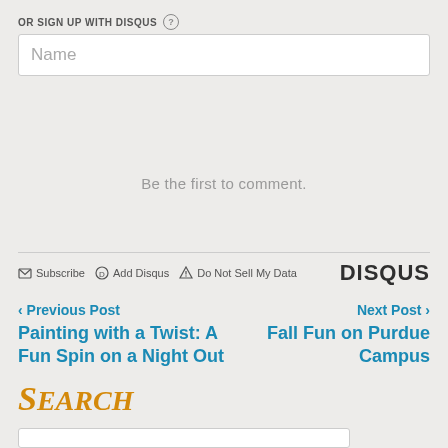OR SIGN UP WITH DISQUS ?
Name
Be the first to comment.
Subscribe  Add Disqus  Do Not Sell My Data  DISQUS
< Previous Post
Next Post >
Painting with a Twist: A Fun Spin on a Night Out
Fall Fun on Purdue Campus
Search